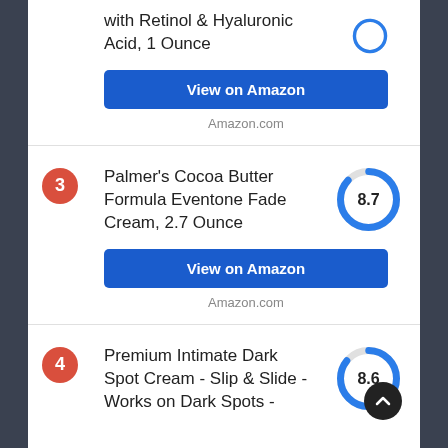with Retinol & Hyaluronic Acid, 1 Ounce
View on Amazon
Amazon.com
[Figure (other): Donut score gauge showing partial score, top cut off]
3
Palmer's Cocoa Butter Formula Eventone Fade Cream, 2.7 Ounce
[Figure (donut-chart): Score gauge showing 8.7 out of 10, blue arc approximately 87%]
View on Amazon
Amazon.com
4
Premium Intimate Dark Spot Cream - Slip & Slide - Works on Dark Spots -
[Figure (donut-chart): Score gauge showing 8.6 out of 10, blue arc approximately 86%]